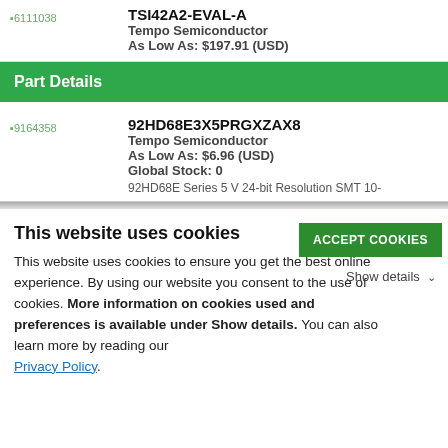[Figure (other): Product image placeholder showing ID 6111038]
TSI42A2-EVAL-A
Tempo Semiconductor
As Low As: $197.91 (USD)
Part Details
[Figure (other): Product image placeholder showing ID 9164358]
92HD68E3X5PRGXZAX8
Tempo Semiconductor
As Low As: $6.96 (USD)
Global Stock: 0
92HD68E Series 5 V 24-bit Resolution SMT 10-
This website uses cookies
This website uses cookies to ensure you get the best online experience. By using our website you consent to the use of cookies. More information on cookies used and preferences is available under Show details. You can also learn more by reading our Privacy Policy.